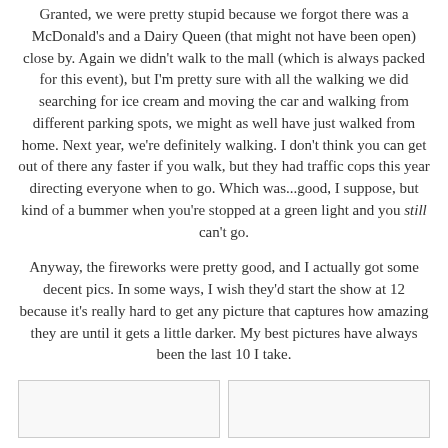Granted, we were pretty stupid because we forgot there was a McDonald's and a Dairy Queen (that might not have been open) close by. Again we didn't walk to the mall (which is always packed for this event), but I'm pretty sure with all the walking we did searching for ice cream and moving the car and walking from different parking spots, we might as well have just walked from home. Next year, we're definitely walking. I don't think you can get out of there any faster if you walk, but they had traffic cops this year directing everyone when to go. Which was...good, I suppose, but kind of a bummer when you're stopped at a green light and you still can't go.
Anyway, the fireworks were pretty good, and I actually got some decent pics. In some ways, I wish they'd start the show at 12 because it's really hard to get any picture that captures how amazing they are until it gets a little darker. My best pictures have always been the last 10 I take.
[Figure (photo): Two photo placeholders side by side at the bottom of the page]